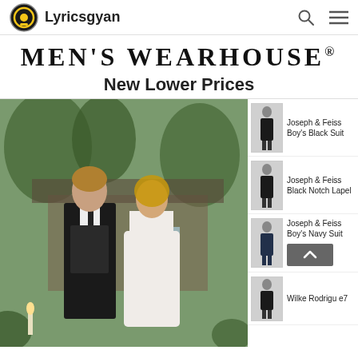Lyricsgyan
MEN'S WEARHOUSE®
New Lower Prices
[Figure (photo): A man in a black suit and tie with a woman in a white dress, standing outdoors at what appears to be a wedding venue]
[Figure (photo): Joseph & Feiss Boy's Black Suit thumbnail]
[Figure (photo): Joseph & Feiss Black Notch Lapel thumbnail]
[Figure (photo): Joseph & Feiss Boy's Navy Suit thumbnail]
[Figure (photo): Wilke Rodriguez thumbnail]
Joseph & Feiss Boy's Black Suit
Joseph & Feiss Black Notch Lapel
Joseph & Feiss Boy's Navy Suit
Wilke Rodrigu e7